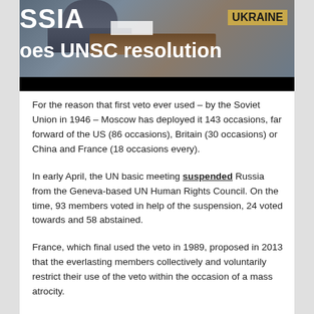[Figure (photo): News screenshot showing a UN Security Council meeting scene with 'SSIA' (Russia) and 'UKRAINE' nameplates visible, overlaid with headline text 'oes UNSC resolution' (part of 'Russia vetoes UNSC resolution'). Black bar at bottom of image.]
For the reason that first veto ever used – by the Soviet Union in 1946 – Moscow has deployed it 143 occasions, far forward of the US (86 occasions), Britain (30 occasions) or China and France (18 occasions every).
In early April, the UN basic meeting suspended Russia from the Geneva-based UN Human Rights Council. On the time, 93 members voted in help of the suspension, 24 voted towards and 58 abstained.
France, which final used the veto in 1989, proposed in 2013 that the everlasting members collectively and voluntarily restrict their use of the veto within the occasion of a mass atrocity.